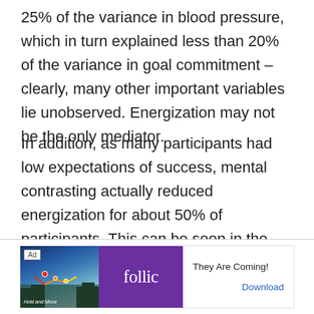25% of the variance in blood pressure, which in turn explained less than 20% of the variance in goal commitment – clearly, many other important variables lie unobserved. Energization may not be the only mediator.
In addition, as many participants had low expectations of success, mental contrasting actually reduced energization for about 50% of participants. This can be seen in the graphs below.
[Figure (other): Advertisement banner: Ad label, image of snowy forest scene with game-like graphic overlay, Follic purple logo, text 'They Are Coming!' and 'Download' link]